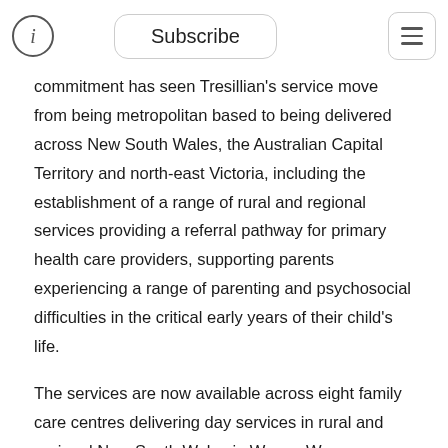Subscribe
commitment has seen Tresillian's service move from being metropolitan based to being delivered across New South Wales, the Australian Capital Territory and north-east Victoria, including the establishment of a range of rural and regional services providing a referral pathway for primary health care providers, supporting parents experiencing a range of parenting and psychosocial difficulties in the critical early years of their child's life.
The services are now available across eight family care centres delivering day services in rural and regional New South Wales in Wagga Wagga, Albury–Wodonga, Lismore, Queanbeyan, Coffs Harbour, Taree, Dubbo and a fly-in fly-out service in Broken Hill, with all services operating under partnership agreements with local health districts and health services. Tresillian has also established two innovative services in partnership with Mid North Coast Local Health